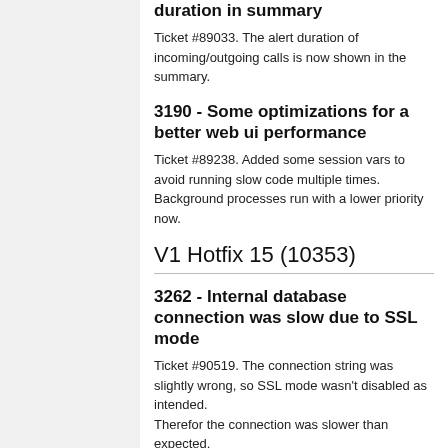duration in summary
Ticket #89033. The alert duration of incoming/outgoing calls is now shown in the summary.
3190 - Some optimizations for a better web ui performance
Ticket #89238. Added some session vars to avoid running slow code multiple times. Background processes run with a lower priority now.
V1 Hotfix 15 (10353)
3262 - Internal database connection was slow due to SSL mode
Ticket #90519. The connection string was slightly wrong, so SSL mode wasn't disabled as intended.
Therefor the connection was slower than expected.